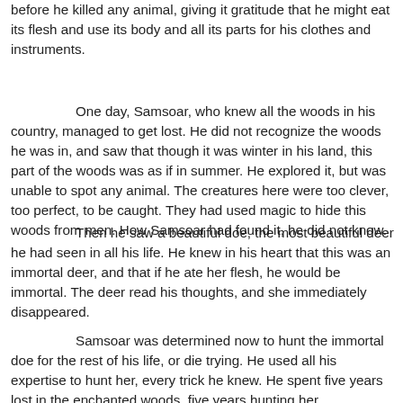before he killed any animal, giving it gratitude that he might eat its flesh and use its body and all its parts for his clothes and instruments.
One day, Samsoar, who knew all the woods in his country, managed to get lost. He did not recognize the woods he was in, and saw that though it was winter in his land, this part of the woods was as if in summer. He explored it, but was unable to spot any animal. The creatures here were too clever, too perfect, to be caught. They had used magic to hide this woods from men. How Samsoar had found it, he did not know.
Then he saw a beautiful doe, the most beautiful deer he had seen in all his life. He knew in his heart that this was an immortal deer, and that if he ate her flesh, he would be immortal. The deer read his thoughts, and she immediately disappeared.
Samsoar was determined now to hunt the immortal doe for the rest of his life, or die trying. He used all his expertise to hunt her, every trick he knew. He spent five years lost in the enchanted woods, five years hunting her.